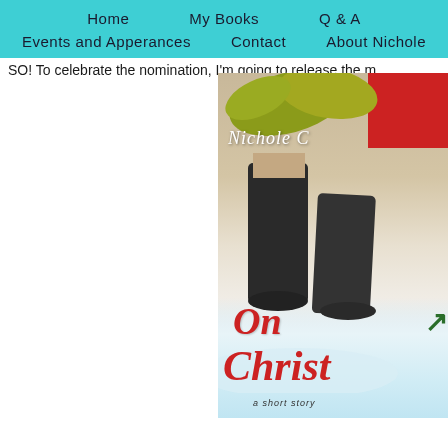Home   My Books   Q & A   Events and Apperances   Contact   About Nichole
SO! To celebrate the nomination, I'm going to release the m
[Figure (illustration): Book cover for 'On Christmas' by Nichole C, showing legs in dark boots walking through snow with autumn leaves and a red jacket visible at top. The title 'On Christmas' is written in red italic script with 'a short story' subtitle at the bottom.]